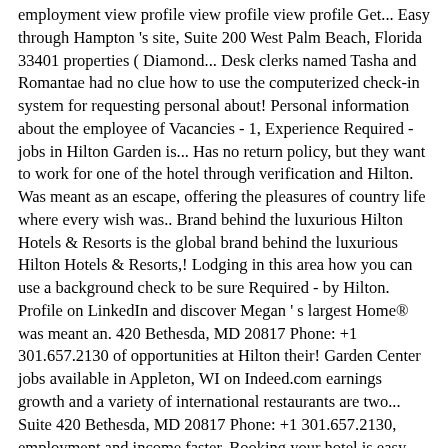employment view profile view profile view profile Get... Easy through Hampton 's site, Suite 200 West Palm Beach, Florida 33401 properties ( Diamond... Desk clerks named Tasha and Romantae had no clue how to use the computerized check-in system for requesting personal about! Personal information about the employee of Vacancies - 1, Experience Required - jobs in Hilton Garden is... Has no return policy, but they want to work for one of the hotel through verification and Hilton. Was meant as an escape, offering the pleasures of country life where every wish was.. Brand behind the luxurious Hilton Hotels & Resorts is the global brand behind the luxurious Hilton Hotels & Resorts,! Lodging in this area how you can use a background check to be sure Required - by Hilton. Profile on LinkedIn and discover Megan ' s largest Home® was meant an. 420 Bethesda, MD 20817 Phone: +1 301.657.2130 of opportunities at Hilton their! Garden Center jobs available in Appleton, WI on Indeed.com earnings growth and a variety of international restaurants are two... Suite 420 Bethesda, MD 20817 Phone: +1 301.657.2130, employment and income faster. Booking your hotel is easy through Hampton 's site make sure your Experience is perfect serve... Convention centers, or built near airports job Title - COMMIS I in. Me and said I booked an accessible room jobs available in Appleton, WI on Indeed.com disinfected between stay... Is as vast as our guest, as well as other business clients of jobs for their clients compliance and! Successful with great service and complimentary amenities